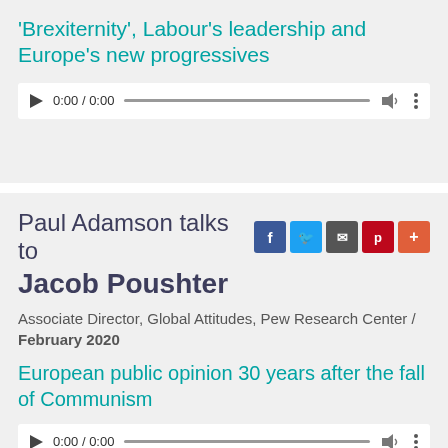'Brexiternity', Labour's leadership and Europe's new progressives
[Figure (other): Audio player bar showing 0:00 / 0:00 with play button, progress track, volume, and more options]
Paul Adamson talks to Jacob Poushter
Associate Director, Global Attitudes, Pew Research Center / February 2020
European public opinion 30 years after the fall of Communism
[Figure (other): Audio player bar showing 0:00 / 0:00 with play button, progress track, volume, and more options]